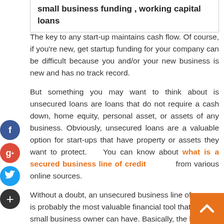small business funding , working capital loans
The key to any start-up maintains cash flow. Of course, if you're new, get startup funding for your company can be difficult because you and/or your new business is new and has no track record.
But something you may want to think about is unsecured loans are loans that do not require a cash down, home equity, personal asset, or assets of any business. Obviously, unsecured loans are a valuable option for start-ups that have property or assets they want to protect. You can know about what is a secured business line of credit from various online sources.
Without a doubt, an unsecured business line of is probably the most valuable financial tool that a small business owner can have. Basically, the line of